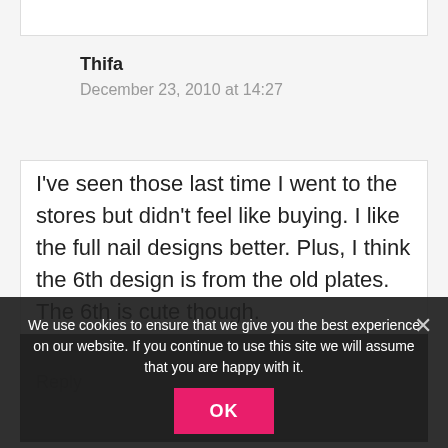Thifa
December 23, 2010 at 14:27
I've seen those last time I went to the stores but didn't feel like buying. I like the full nail designs better. Plus, I think the 6th design is from the old plates. The 6th is cute though.
Reply
We use cookies to ensure that we give you the best experience on our website. If you continue to use this site we will assume that you are happy with it.
OK